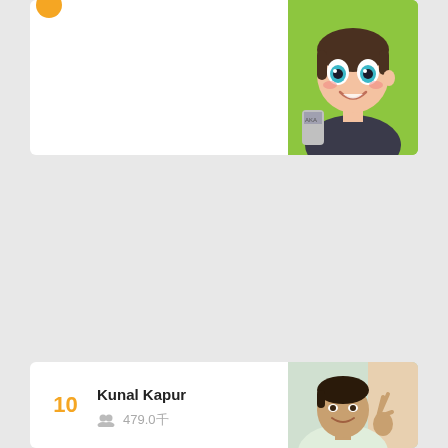[Figure (illustration): Anime-style cartoon character with teal eyes, dark hair, smiling, holding a silver can, green background — profile/avatar image in top card]
[Figure (photo): Photo of Kunal Kapur, a man making a peace/victory sign with his hand, smiling, colorful background — profile photo in bottom card]
Kunal Kapur
479.0千
10